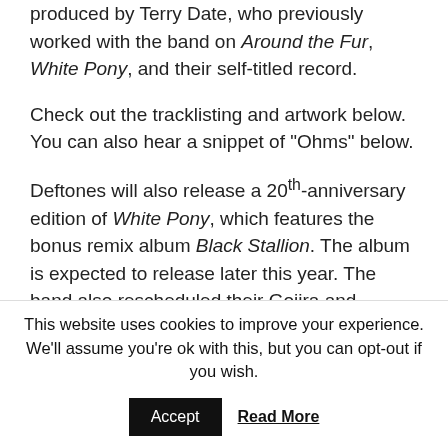produced by Terry Date, who previously worked with the band on Around the Fur, White Pony, and their self-titled record.
Check out the tracklisting and artwork below. You can also hear a snippet of "Ohms" below.
Deftones will also release a 20th-anniversary edition of White Pony, which features the bonus remix album Black Stallion. The album is expected to release later this year. The band also rescheduled their Gojira and
This website uses cookies to improve your experience. We'll assume you're ok with this, but you can opt-out if you wish.
Accept   Read More